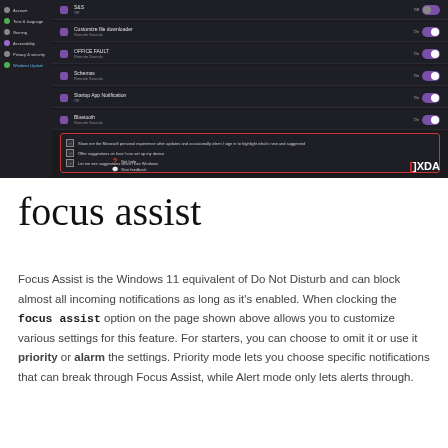[Figure (screenshot): Windows 11 Settings screenshot showing notification/sound settings with toggles for various apps including Cortana, Startup App Notification, Bluetooth. A red-bordered checkbox section shows three checkboxes for Microsoft-related notification settings. XDA logo visible in bottom right.]
focus assist
Focus Assist is the Windows 11 equivalent of Do Not Disturb and can block almost all incoming notifications as long as it's enabled. When clocking the focus assist option on the page shown above allows you to customize various settings for this feature. For starters, you can choose to omit it or use it priority or alarm the settings. Priority mode lets you choose specific notifications that can break through Focus Assist, while Alert mode only lets alerts through.